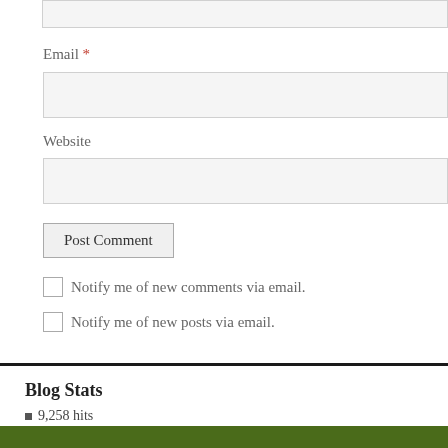[Figure (screenshot): Top edge of a form input field (text box), partially visible at the top of the page]
Email *
[Figure (screenshot): Email text input field]
Website
[Figure (screenshot): Website text input field]
Post Comment
Notify me of new comments via email.
Notify me of new posts via email.
Blog Stats
9,258 hits
Castle Argghhh